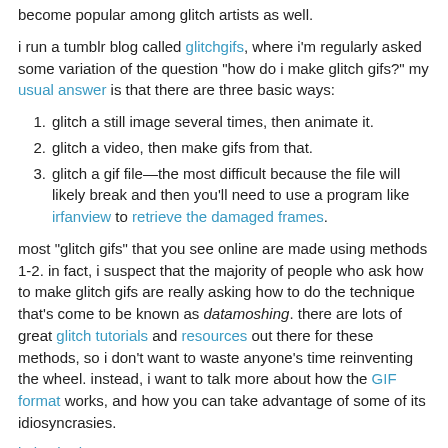become popular among glitch artists as well.
i run a tumblr blog called glitchgifs, where i'm regularly asked some variation of the question "how do i make glitch gifs?" my usual answer is that there are three basic ways:
glitch a still image several times, then animate it.
glitch a video, then make gifs from that.
glitch a gif file—the most difficult because the file will likely break and then you'll need to use a program like irfanview to retrieve the damaged frames.
most "glitch gifs" that you see online are made using methods 1-2. in fact, i suspect that the majority of people who ask how to make glitch gifs are really asking how to do the technique that's come to be known as datamoshing. there are lots of great glitch tutorials and resources out there for these methods, so i don't want to waste anyone's time reinventing the wheel. instead, i want to talk more about how the GIF format works, and how you can take advantage of some of its idiosyncrasies.
i also had a...